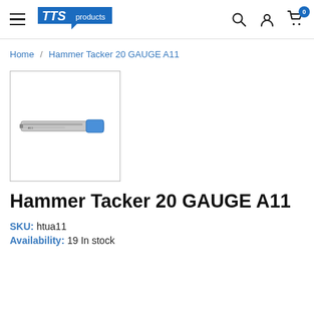TTS products — navigation header with hamburger menu, logo, search, account, and cart icons
Home / Hammer Tacker 20 GAUGE A11
[Figure (photo): Small thumbnail image of a Hammer Tacker 20 GAUGE A11 tool — a long narrow silver/grey staple gun, shown horizontally inside a bordered thumbnail box]
Hammer Tacker 20 GAUGE A11
SKU: htua11
Availability: 19 In stock